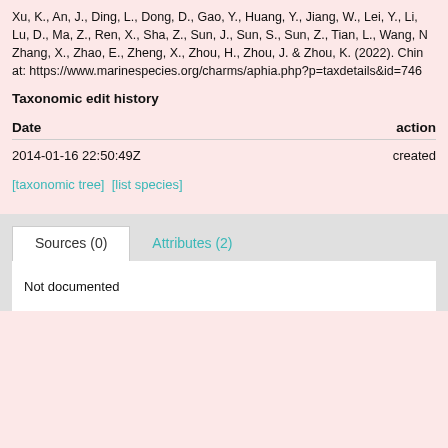Xu, K., An, J., Ding, L., Dong, D., Gao, Y., Huang, Y., Jiang, W., Lei, Y., Li, Lu, D., Ma, Z., Ren, X., Sha, Z., Sun, J., Sun, S., Sun, Z., Tian, L., Wang, N., Zhang, X., Zhao, E., Zheng, X., Zhou, H., Zhou, J. & Zhou, K. (2022). Chin at: https://www.marinespecies.org/charms/aphia.php?p=taxdetails&id=746
Taxonomic edit history
| Date | action |
| --- | --- |
| 2014-01-16 22:50:49Z | created |
[taxonomic tree]  [list species]
Sources (0)
Attributes (2)
Not documented